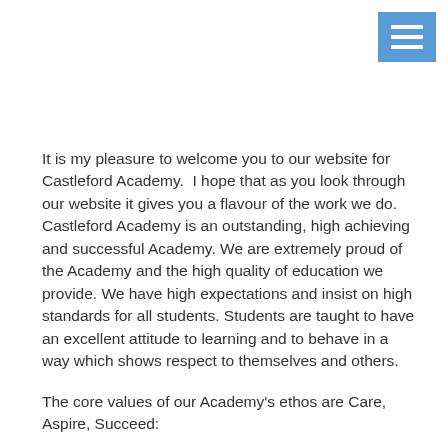[Figure (other): Blue square button with three white horizontal lines (hamburger menu icon) in top-right corner]
It is my pleasure to welcome you to our website for Castleford Academy.  I hope that as you look through our website it gives you a flavour of the work we do. Castleford Academy is an outstanding, high achieving and successful Academy. We are extremely proud of the Academy and the high quality of education we provide. We have high expectations and insist on high standards for all students. Students are taught to have an excellent attitude to learning and to behave in a way which shows respect to themselves and others.
The core values of our Academy's ethos are Care, Aspire, Succeed:
Care - At Castleford Academy, we have high expectations of pupil's behaviour.  We expect that our pupil's grow to respect themselves and others